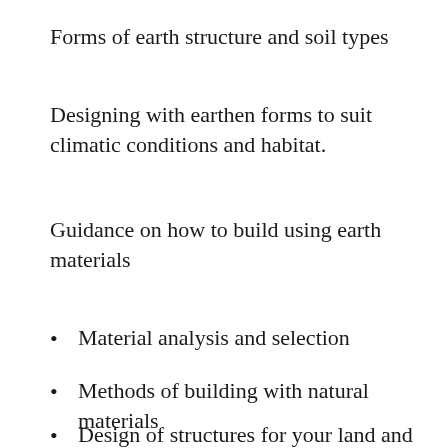Forms of earth structure and soil types
Designing with earthen forms to suit climatic conditions and habitat.
Guidance on how to build using earth materials
Material analysis and selection
Methods of building with natural materials
Design of structures for your land and